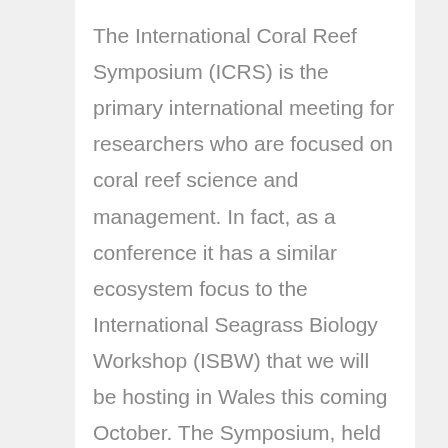The International Coral Reef Symposium (ICRS) is the primary international meeting for researchers who are focused on coral reef science and management. In fact, as a conference it has a similar ecosystem focus to the International Seagrass Biology Workshop (ISBW) that we will be hosting in Wales this coming October. The Symposium, held in Hawai'i last week brought together over 2,500 coral reef scientists,